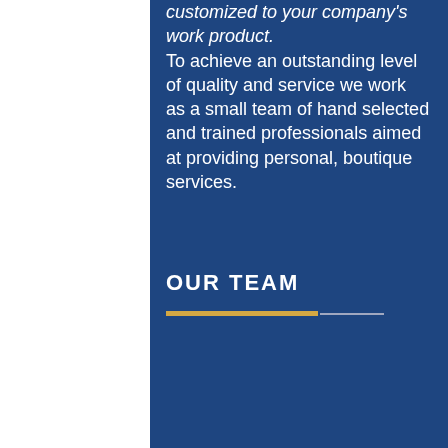customized to your company's work product. To achieve an outstanding level of quality and service we work as a small team of hand selected and trained professionals aimed at providing personal, boutique services.
OUR TEAM